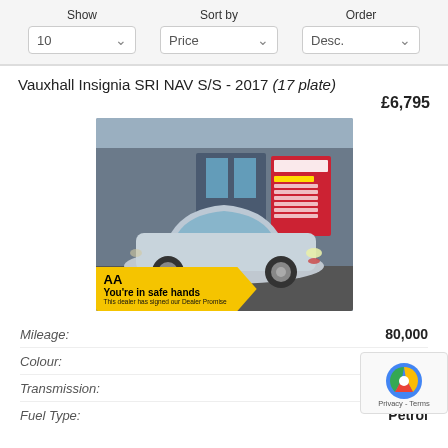Show: 10 | Sort by: Price | Order: Desc.
Vauxhall Insignia SRI NAV S/S - 2017 (17 plate)
£6,795
[Figure (photo): Silver Vauxhall Insignia SRI NAV parked outside a car dealership with blue exterior and red signage. AA 'You're in safe hands' badge overlay at bottom left.]
Mileage: 80,000
Colour: SILVER
Transmission: Manual
Fuel Type: Petrol